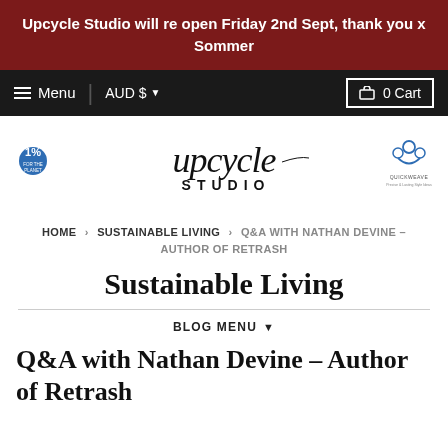Upcycle Studio will re open Friday 2nd Sept, thank you x Sommer
Menu  AUD $  0 Cart
[Figure (logo): Upcycle Studio logo in script font with '1% for the planet' badge on left and Quickweave badge on right]
HOME › SUSTAINABLE LIVING › Q&A WITH NATHAN DEVINE – AUTHOR OF RETREASH
Sustainable Living
BLOG MENU ▼
Q&A with Nathan Devine – Author of Retrash